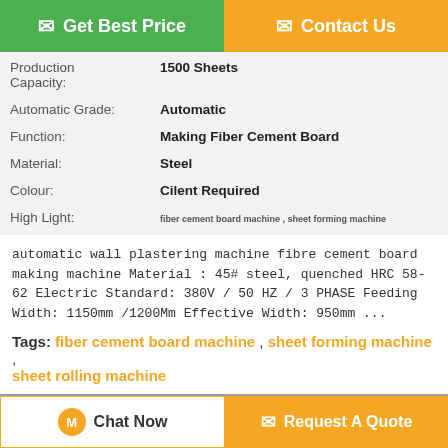[Figure (other): Get Best Price button (green) and Contact Us button (orange) at the top]
| Production Capacity: | 1500 Sheets |
| Automatic Grade: | Automatic |
| Function: | Making Fiber Cement Board |
| Material: | Steel |
| Colour: | Cilent Required |
| High Light: | fiber cement board machine , sheet forming machine |
automatic wall plastering machine fibre cement board making machine Material : 45# steel, quenched HRC 58-62 Electric Standard: 380V / 50 HZ / 3 PHASE Feeding Width: 1150mm /1200Mm Effective Width: 950mm ...
Tags: fiber cement board machine , sheet forming machine , sheet rolling machine
Product Description >
[Figure (other): Orange bordered empty section below Product Description button]
[Figure (other): Chat Now button and Request A Quote button at the bottom]